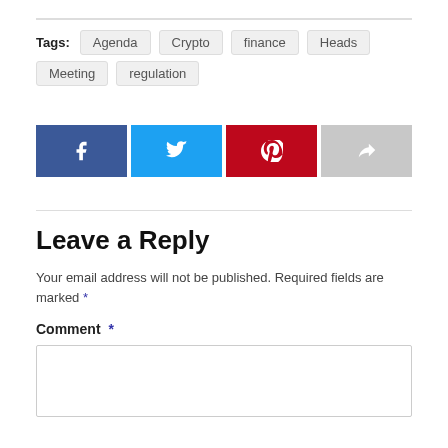Tags: Agenda Crypto finance Heads Meeting regulation
[Figure (infographic): Social share buttons: Facebook (blue), Twitter (light blue), Pinterest (red), Share (gray)]
Leave a Reply
Your email address will not be published. Required fields are marked *
Comment *